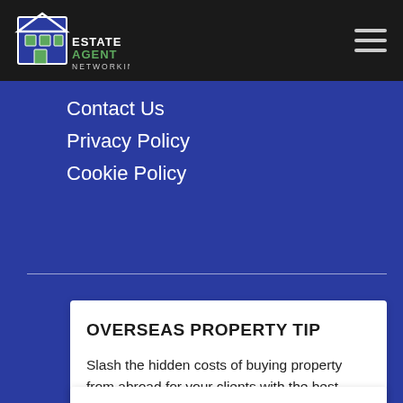Estate Agent Networking
Contact Us
Privacy Policy
Cookie Policy
OVERSEAS PROPERTY TIP
Slash the hidden costs of buying property from abroad for your clients with the best international money transfer providers